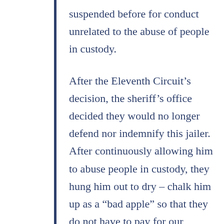suspended before for conduct unrelated to the abuse of people in custody.
After the Eleventh Circuit’s decision, the sheriff’s office decided they would no longer defend nor indemnify this jailer. After continuously allowing him to abuse people in custody, they hung him out to dry – chalk him up as a “bad apple” so that they do not have to pay for our client’s hip replacement surgery.
We appealed that decision to the